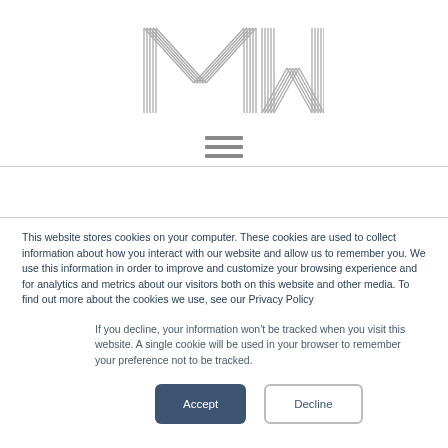[Figure (logo): MW logo made of overlapping zigzag lines in gray]
This website stores cookies on your computer. These cookies are used to collect information about how you interact with our website and allow us to remember you. We use this information in order to improve and customize your browsing experience and for analytics and metrics about our visitors both on this website and other media. To find out more about the cookies we use, see our Privacy Policy
If you decline, your information won't be tracked when you visit this website. A single cookie will be used in your browser to remember your preference not to be tracked.